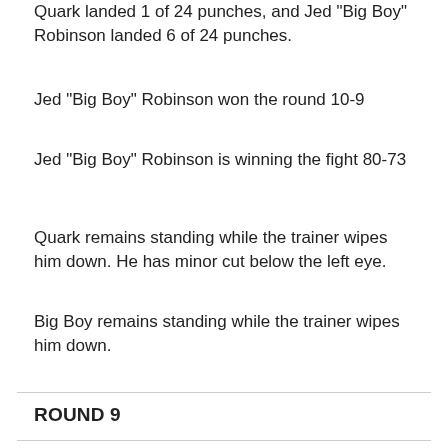Quark landed 1 of 24 punches, and Jed "Big Boy" Robinson landed 6 of 24 punches.
Jed "Big Boy" Robinson won the round 10-9
Jed "Big Boy" Robinson is winning the fight 80-73
Quark remains standing while the trainer wipes him down. He has minor cut below the left eye.
Big Boy remains standing while the trainer wipes him down.
ROUND 9